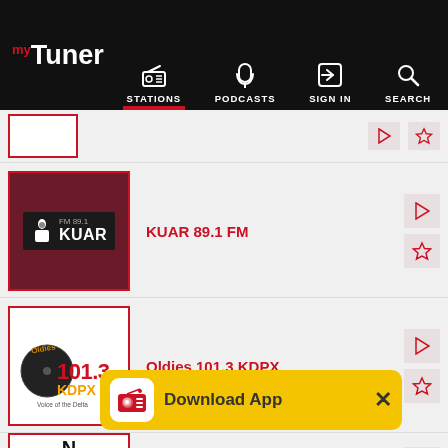myTuner — STATIONS | PODCASTS | SIGN IN | SEARCH
[Figure (screenshot): Partial radio station row at top, cropped]
KUAR 89.1 FM
Oldies 101.3 KDPX
Nash Icon (partial, bottom)
[Figure (infographic): Download App banner with yellow background, radio icon, text 'Download App', and X close button]